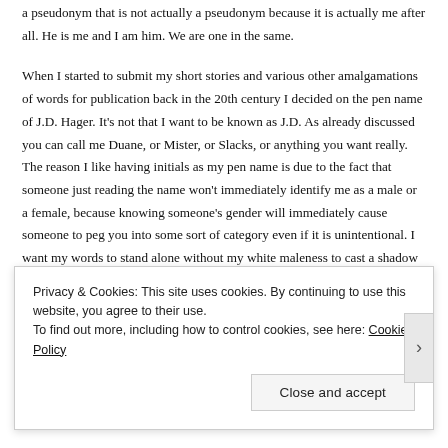a pseudonym that is not actually a pseudonym because it is actually me after all. He is me and I am him. We are one in the same.
When I started to submit my short stories and various other amalgamations of words for publication back in the 20th century I decided on the pen name of J.D. Hager. It's not that I want to be known as J.D. As already discussed you can call me Duane, or Mister, or Slacks, or anything you want really. The reason I like having initials as my pen name is due to the fact that someone just reading the name won't immediately identify me as a male or a female, because knowing someone's gender will immediately cause someone to peg you into some sort of category even if it is unintentional. I want my words to stand alone without my white maleness to cast a shadow or doubt upon their worth. As a writer I guess that's all we can hope for, for our words to be judged not from who written them but...
Privacy & Cookies: This site uses cookies. By continuing to use this website, you agree to their use.
To find out more, including how to control cookies, see here: Cookie Policy
Close and accept